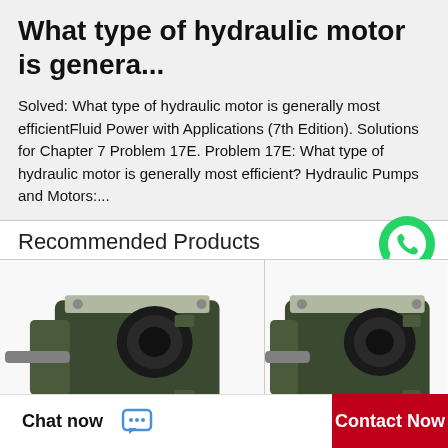What type of hydraulic motor is genera...
Solved: What type of hydraulic motor is generally most efficientFluid Power with Applications (7th Edition). Solutions for Chapter 7 Problem 17E. Problem 17E: What type of hydraulic motor is generally most efficient? Hydraulic Pumps and Motors:...
Recommended Products
[Figure (photo): WhatsApp Online button with green phone icon]
[Figure (photo): Hydraulic motor/pump unit - dark green metal body with mounting flange and shaft, left product]
[Figure (photo): Hydraulic motor/pump unit - dark green metal body with mounting flange and shaft, right product]
Chat now
Contact Now